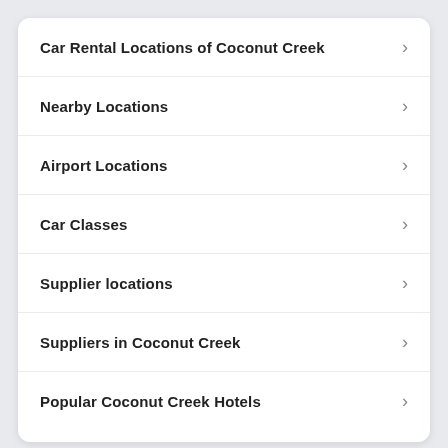Car Rental Locations of Coconut Creek
Nearby Locations
Airport Locations
Car Classes
Supplier locations
Suppliers in Coconut Creek
Popular Coconut Creek Hotels